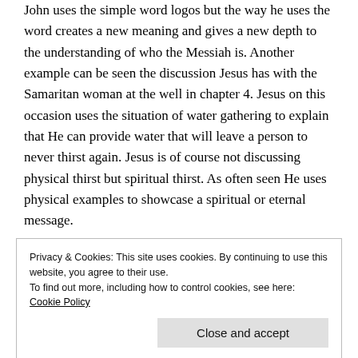John uses the simple word logos but the way he uses the word creates a new meaning and gives a new depth to the understanding of who the Messiah is. Another example can be seen the discussion Jesus has with the Samaritan woman at the well in chapter 4. Jesus on this occasion uses the situation of water gathering to explain that He can provide water that will leave a person to never thirst again. Jesus is of course not discussing physical thirst but spiritual thirst. As often seen He uses physical examples to showcase a spiritual or eternal message.
Privacy & Cookies: This site uses cookies. By continuing to use this website, you agree to their use.
To find out more, including how to control cookies, see here: Cookie Policy
Close and accept
sufficiency is started with the feeding of the multitude